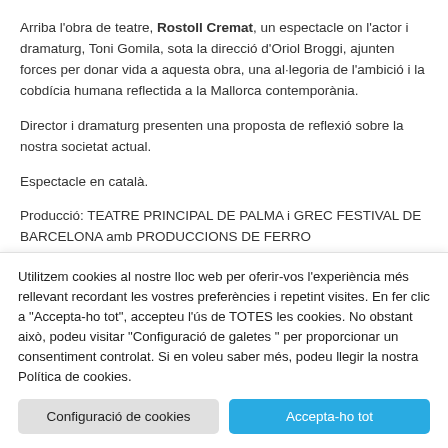Arriba l'obra de teatre, Rostoll Cremat, un espectacle on l'actor i dramaturg, Toni Gomila, sota la direcció d'Oriol Broggi, ajunten forces per donar vida a aquesta obra, una al·legoria de l'ambició i la cobdícia humana reflectida a la Mallorca contemporània.
Director i dramaturg presenten una proposta de reflexió sobre la nostra societat actual.
Espectacle en català.
Producció: TEATRE PRINCIPAL DE PALMA i GREC FESTIVAL DE BARCELONA amb PRODUCCIONS DE FERRO
[Figure (other): Dotted horizontal separator line followed by a row of social media icon circles (blue, red, blue, blue)]
Utilitzem cookies al nostre lloc web per oferir-vos l'experiència més rellevant recordant les vostres preferències i repetint visites. En fer clic a "Accepta-ho tot", accepteu l'ús de TOTES les cookies. No obstant això, podeu visitar "Configuració de galetes " per proporcionar un consentiment controlat. Si en voleu saber més, podeu llegir la nostra Política de cookies.